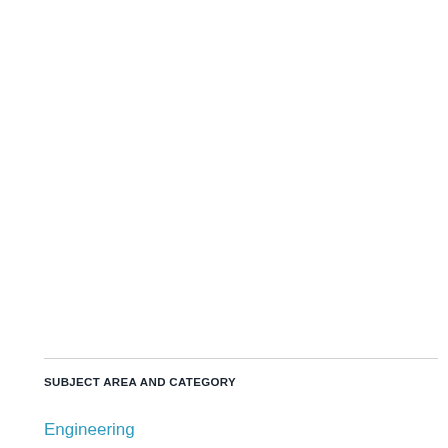SUBJECT AREA AND CATEGORY
Engineering